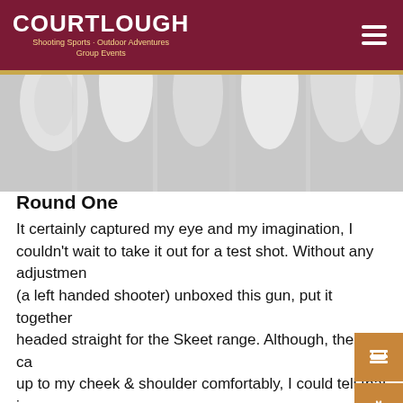COURTLOUGH
Shooting Sports · Outdoor Adventures · Group Events
[Figure (photo): Decorative background image showing white and grey abstract shapes, resembling a close-up of sports gear or targets]
Round One
It certainly captured my eye and my imagination, I couldn't wait to take it out for a test shot. Without any adjustments (a left handed shooter) unboxed this gun, put it together and headed straight for the Skeet range. Although, the gun came up to my cheek & shoulder comfortably, I could tell that it was off and I adjusted myself to bring my eye in line. The first half of the 25 round of Skeet wasn't great but once I got a feel for the gun and how it moved, the second half was stronger. From there, I took on some Compak Sporting, shooting a wide range of targets, from quartering, rabbits, loopers, battues, crossers, teal to incomers. The Benelli really showed its ability here, smooth and easy to move, fast but easily